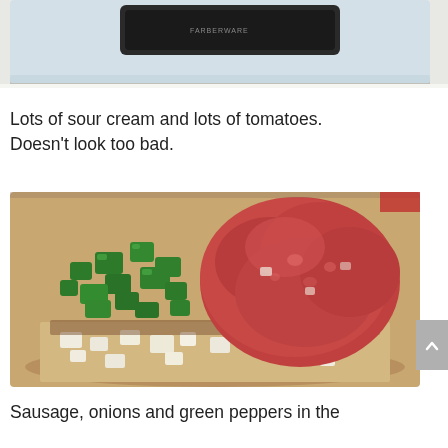[Figure (photo): Partial top photo showing what appears to be a kitchen appliance or cutting board with some text visible on it, cropped at top of page.]
Lots of sour cream and lots of tomatoes. Doesn't look too bad.
[Figure (photo): A pot containing raw ground sausage/meat alongside chopped green peppers and diced white onions, uncooked ingredients ready to be cooked.]
Sausage, onions and green peppers in the